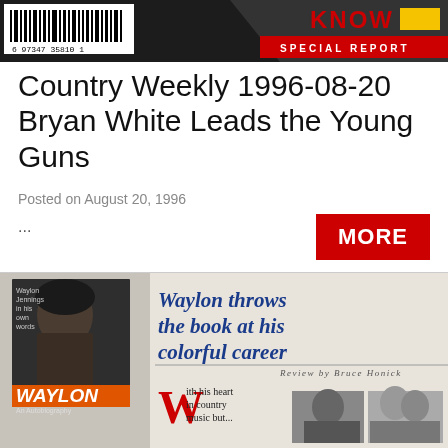[Figure (photo): Top portion of a magazine cover showing barcode on left and 'KNOW SPECIAL REPORT' badge on right with red background]
Country Weekly 1996-08-20 Bryan White Leads the Young Guns
Posted on August 20, 1996
...
[Figure (photo): Magazine spread showing Waylon Jennings book review with headline 'Waylon throws the book at his colorful career', Review by Bruce Honick, with drop cap W beginning 'ith his heart in country music but...' and photos below]